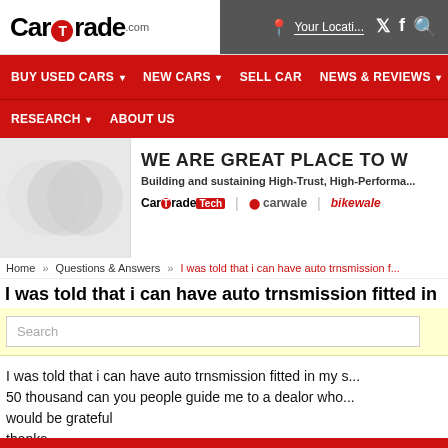CarTrade.com
BUY USED CARS | NEW CARS | SELL CAR | NEWS & REVIEWS | RESEARCH | ABOUT US
[Figure (screenshot): CarTradeTech promotional banner with logos: CarTradeTech, carwale, bikewale. Text: WE ARE GREAT PLACE TO W... Building and sustaining High-Trust, High-Performa...]
Home » Questions & Answers » I was told that i can have auto trnsmission f...
I was told that i can have auto trnsmission fitted in
Search
I was told that i can have auto trnsmission fitted in my s... 50 thousand can you people guide me to a dealor who... would be grateful
thanks